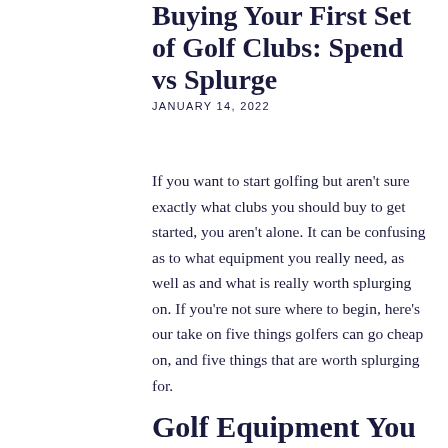Buying Your First Set of Golf Clubs: Spend vs Splurge
JANUARY 14, 2022
If you want to start golfing but aren't sure exactly what clubs you should buy to get started, you aren't alone. It can be confusing as to what equipment you really need, as well as and what is really worth splurging on. If you're not sure where to begin, here's our take on five things golfers can go cheap on, and five things that are worth splurging for.
Golf Equipment You